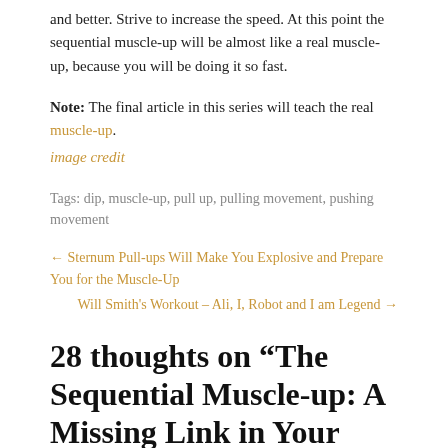and better. Strive to increase the speed. At this point the sequential muscle-up will be almost like a real muscle-up, because you will be doing it so fast.
Note: The final article in this series will teach the real muscle-up.
image credit
Tags: dip, muscle-up, pull up, pulling movement, pushing movement
← Sternum Pull-ups Will Make You Explosive and Prepare You for the Muscle-Up
Will Smith's Workout – Ali, I, Robot and I am Legend →
28 thoughts on “The Sequential Muscle-up: A Missing Link in Your Muscle-up Training?”